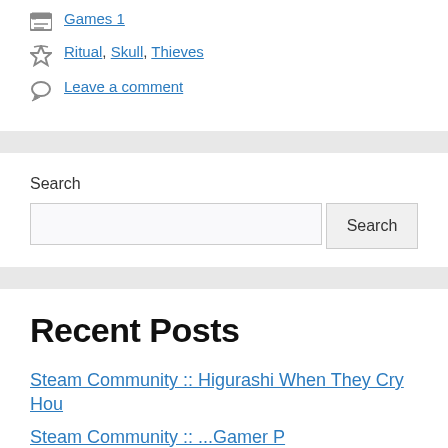Games 1
Ritual, Skull, Thieves
Leave a comment
Search
Recent Posts
Steam Community :: Higurashi When They Cry Hou
Steam Community :: ...